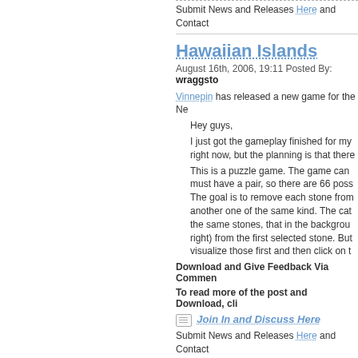Submit News and Releases Here and Contact
Hawaiian Islands
August 16th, 2006, 19:11 Posted By: wraggsto
Vinnepin has released a new game for the Ne
Hey guys,
I just got the gameplay finished for my right now, but the planning is that there
This is a puzzle game. The game can must have a pair, so there are 66 poss The goal is to remove each stone from another one of the same kind. The cat the same stones, that in the backgrou right) from the first selected stone. But visualize those first and then click on t
Download and Give Feedback Via Commen
To read more of the post and Download, cli
Join In and Discuss Here
Submit News and Releases Here and Contact
Lmnts
August 16th, 2006, 20:27 Posted By: wraggsto